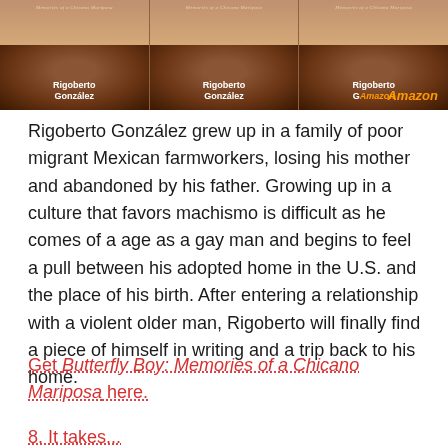[Figure (photo): Book cover of 'Butterfly Boy: Memories of a Chicano Mariposa' by Rigoberto González shown three times in a repeating strip. The covers show a face/figure in warm brown tones with the author name visible. An Amazon watermark appears in the lower right corner.]
Rigoberto González grew up in a family of poor migrant Mexican farmworkers, losing his mother and abandoned by his father. Growing up in a culture that favors machismo is difficult as he comes of a age as a gay man and begins to feel a pull between his adopted home in the U.S. and the place of his birth. After entering a relationship with a violent older man, Rigoberto will finally find a piece of himself in writing and a trip back to his home.
Get Butterfly Boy: Memories of a Chicano Mariposa here.
8. It takes...